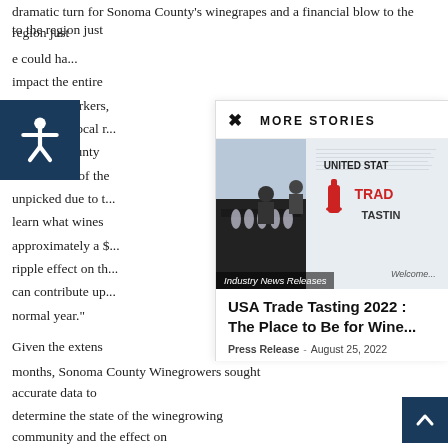dramatic turn for Sonoma County's winegrapes and a financial blow to the region just as it has with other wine regions across California.
e could ha... impact the entire ... vintners, workers, ultimately, local r... Sonoma County ... 25% – 30% of the ... unpicked due to t... learn what wines ... approximately a $... ripple effect on th... can contribute up... normal year."
[Figure (screenshot): MORE STORIES overlay panel with USA Trade Tasting 2022 article featuring an image of people at a tasting event with United States Trade Tasting signage]
Industry News Releases
USA Trade Tasting 2022 : The Place to Be for Wine...
Press Release - August 25, 2022
Given the extens... months, Sonoma County Winegrowers sought accurate data to determine the state of the winegrowing community and the effect on...